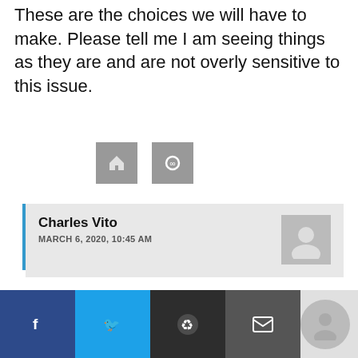These are the choices we will have to make. Please tell me I am seeing things as they are and are not overly sensitive to this issue.
[Figure (other): Two small grey reaction/vote buttons]
Charles Vito
MARCH 6, 2020, 10:45 AM
Your right on the money, It's our God given right and god help those who try to take it away.
[Figure (other): Two small grey reaction/vote buttons inside comment]
[Figure (other): Social sharing bar with Facebook, Twitter, Reddit, Email buttons and a small avatar on the right]